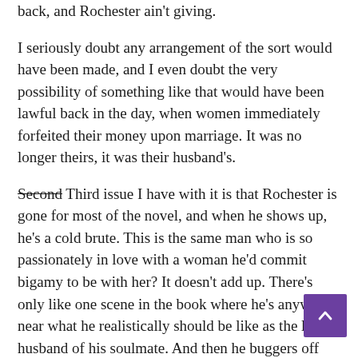financial difficulties, they're trying to get their money back, and Rochester ain't giving.
I seriously doubt any arrangement of the sort would have been made, and I even doubt the very possibility of something like that would have been lawful back in the day, when women immediately forfeited their money upon marriage. It was no longer theirs, it was their husband's.
Second [strikethrough] Third issue I have with it is that Rochester is gone for most of the novel, and when he shows up, he's a cold brute. This is the same man who is so passionately in love with a woman he'd commit bigamy to be with her? It doesn't add up. There's only like one scene in the book where he's anywhere near what he realistically should be like as the loving husband of his soulmate. And then he buggers off again without a word to say where he's going!
Bailey makes Hou out to be full of suspicious powers